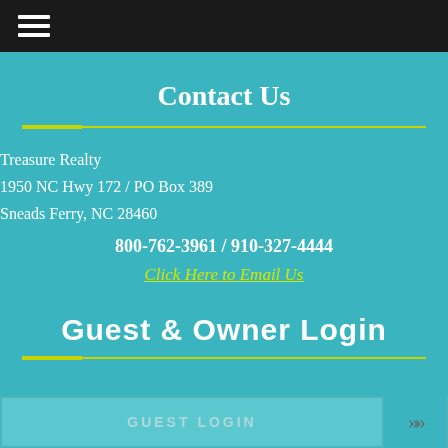Navigation menu (hamburger icon)
Contact Us
Treasure Realty
1950 NC Hwy 172 / PO Box 389
Sneads Ferry, NC 28460
800-762-3961 / 910-327-4444
Click Here to Email Us
Guest & Owner Login
GUEST LOGIN